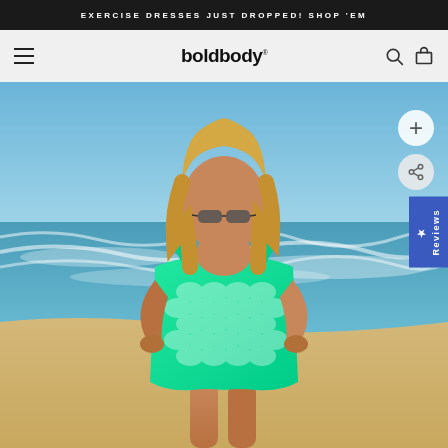EXERCISE DRESSES JUST DROPPED! SHOP 'EM
boldbody
[Figure (photo): Woman wearing a green mermaid-scale print one-piece swimsuit standing on a beach with blue sky and ocean waves in the background. She has blonde hair, sunglasses, hands on hips. Floating buttons: zoom (+) and share icons on right side. A blue 'Reviews' vertical tab on far right.]